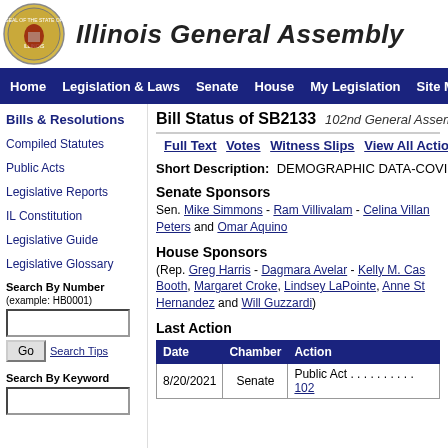Illinois General Assembly
Home | Legislation & Laws | Senate | House | My Legislation | Site Map
Bill Status of SB2133   102nd General Assembly
Full Text  Votes  Witness Slips  View All Actions
Short Description:  DEMOGRAPHIC DATA-COVID
Senate Sponsors
Sen. Mike Simmons - Ram Villivalam - Celina Villanueva - Peters and Omar Aquino
House Sponsors
(Rep. Greg Harris - Dagmara Avelar - Kelly M. Cassidy - Booth, Margaret Croke, Lindsey LaPointe, Anne Stava-Murray, Hernandez and Will Guzzardi)
Last Action
| Date | Chamber | Action |
| --- | --- | --- |
| 8/20/2021 | Senate | Public Act . . . . . . . . . . 102 |
Bills & Resolutions
Compiled Statutes
Public Acts
Legislative Reports
IL Constitution
Legislative Guide
Legislative Glossary
Search By Number (example: HB0001)
Search By Keyword